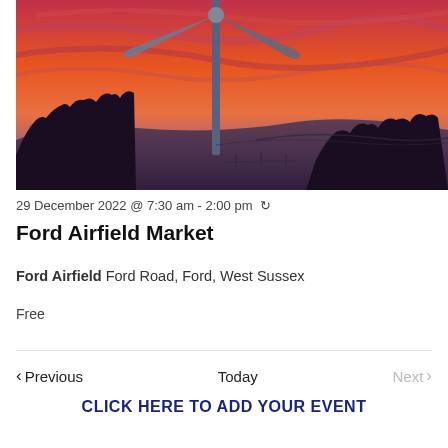[Figure (photo): Sunset photo showing a wind turbine or weather vane on a pole against a vivid red-pink sky, with silhouetted trees and countryside landscape below.]
29 December 2022 @ 7:30 am - 2:00 pm ↻
Ford Airfield Market
Ford Airfield Ford Road, Ford, West Sussex
Free
< Previous   Today   Next >
CLICK HERE TO ADD YOUR EVENT